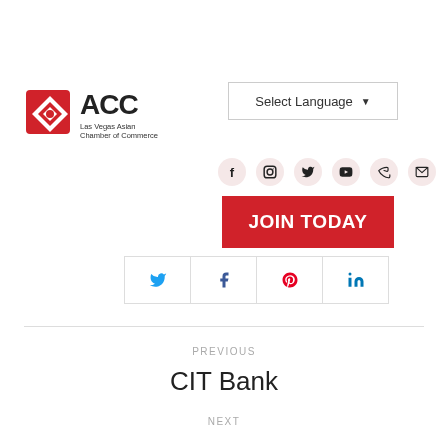[Figure (logo): ACC Las Vegas Asian Chamber of Commerce logo with red diamond/square rotated icon and bold ACC text]
Select Language ▾
[Figure (infographic): Social media icons row: Facebook, Instagram, Twitter, YouTube, Phone, Email]
JOIN TODAY
[Figure (infographic): Share buttons row: Twitter, Facebook, Pinterest, LinkedIn]
PREVIOUS
CIT Bank
NEXT